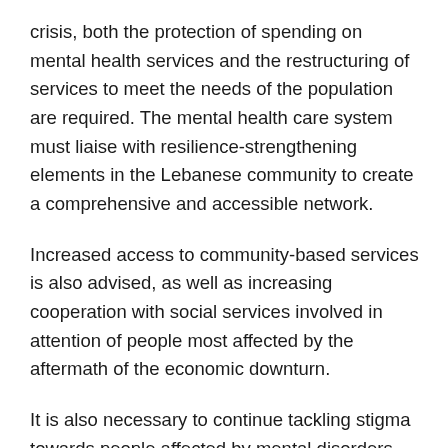crisis, both the protection of spending on mental health services and the restructuring of services to meet the needs of the population are required. The mental health care system must liaise with resilience-strengthening elements in the Lebanese community to create a comprehensive and accessible network.
Increased access to community-based services is also advised, as well as increasing cooperation with social services involved in attention of people most affected by the aftermath of the economic downturn.
It is also necessary to continue tackling stigma towards people affected by mental disorders, such as through Neshan's TV episode on mental disorders in 'Ana Hek' and the campaigns of several local NGOs. Awareness can also be established by introducing e-mental health